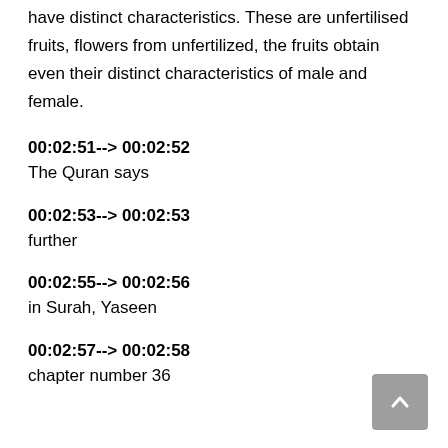have distinct characteristics. These are unfertilised fruits, flowers from unfertilized, the fruits obtain even their distinct characteristics of male and female.
00:02:51--> 00:02:52
The Quran says
00:02:53--> 00:02:53
further
00:02:55--> 00:02:56
in Surah, Yaseen
00:02:57--> 00:02:58
chapter number 36